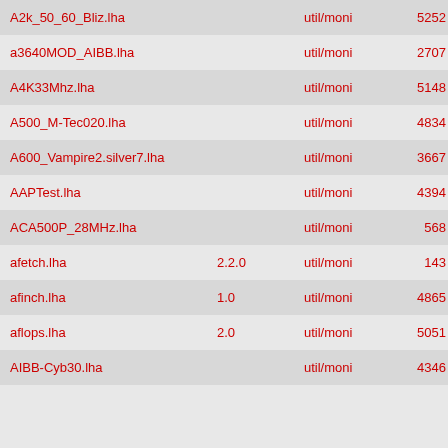| Filename | Version | Category | ID | Size |
| --- | --- | --- | --- | --- |
| A2k_50_60_Bliz.lha |  | util/moni | 5252 | 1K |
| a3640MOD_AIBB.lha |  | util/moni | 2707 | 269K |
| A4K33Mhz.lha |  | util/moni | 5148 | 2K |
| A500_M-Tec020.lha |  | util/moni | 4834 | 1K |
| A600_Vampire2.silver7.lha |  | util/moni | 3667 | 1K |
| AAPTest.lha |  | util/moni | 4394 | 83K |
| ACA500P_28MHz.lha |  | util/moni | 568 | 1K |
| afetch.lha | 2.2.0 | util/moni | 143 | 107K |
| afinch.lha | 1.0 | util/moni | 4865 | 35K |
| aflops.lha | 2.0 | util/moni | 5051 | 86K |
| AIBB-Cyb30.lha |  | util/moni | 4346 | 1K |